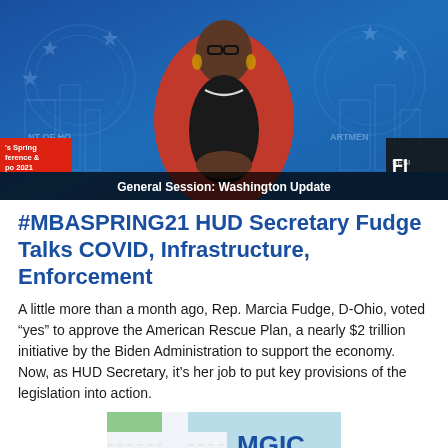[Figure (photo): Video screenshot of a woman in a red jacket sitting at a desk in front of HUD Department of Housing and Urban Development background screens. Lower bar reads 'General Session: Washington Update'. Bottom left badge shows 'Spring Conference & Expo 2021' in red. Bottom right shows 'FI' text on dark background.]
#MBASPRING21 HUD Secretary Fudge Talks COVID, Infrastructure, Enforcement
A little more than a month ago, Rep. Marcia Fudge, D-Ohio, voted “yes” to approve the American Rescue Plan, a nearly $2 trillion initiative by the Biden Administration to support the economy. Now, as HUD Secretary, it’s her job to put key provisions of the legislation into action.
[Figure (logo): MGIC logo with map/crossroad illustration in light blue and green tones with a red dot marker]